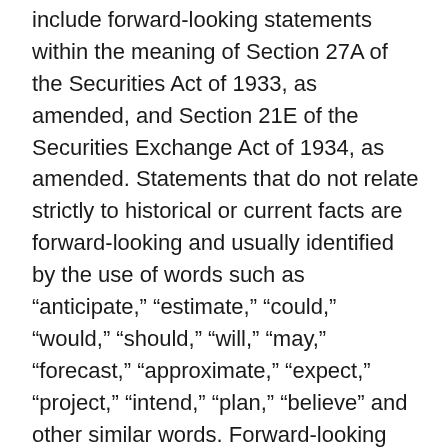include forward-looking statements within the meaning of Section 27A of the Securities Act of 1933, as amended, and Section 21E of the Securities Exchange Act of 1934, as amended. Statements that do not relate strictly to historical or current facts are forward-looking and usually identified by the use of words such as “anticipate,” “estimate,” “could,” “would,” “should,” “will,” “may,” “forecast,” “approximate,” “expect,” “project,” “intend,” “plan,” “believe” and other similar words. Forward-looking statements may relate to expectations for future financial performance, business strategies or expectations for Archaea’s business. Specifically, forward-looking statements may include statements concerning the expected closing of the